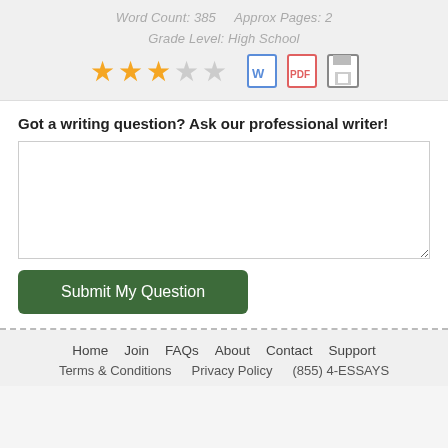Word Count: 385    Approx Pages: 2
Grade Level: High School
[Figure (infographic): 3 filled gold stars and 2 empty/outline stars (rating: 3/5), plus Word doc icon, PDF icon, and save/floppy disk icon]
Got a writing question? Ask our professional writer!
[text area input box]
Submit My Question
Home    Join    FAQs    About    Contact    Support
Terms & Conditions    Privacy Policy    (855) 4-ESSAYS